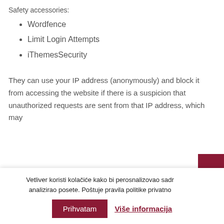Safety accessories:
Wordfence
Limit Login Attempts
iThemesSecurity
They can use your IP address (anonymously) and block it from accessing the website if there is a suspicion that unauthorized requests are sent from that IP address, which may
Vetliver koristi kolačiće kako bi perosnalizovao sadr analizirao posete. Poštuje pravila politike privatno
Prihvatam
Više informacija